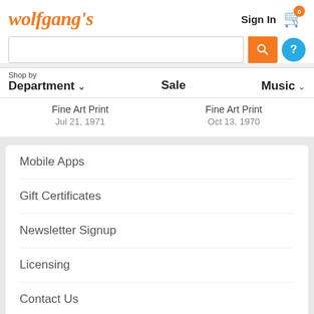wolfgang's
Sign In
Fine Art Print Jul 21, 1971
Fine Art Print Oct 13, 1970
Mobile Apps
Gift Certificates
Newsletter Signup
Licensing
Contact Us
About Us